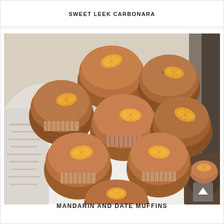SWEET LEEK CARBONARA
[Figure (photo): Overhead photo of golden-brown muffins topped with mandarin orange slices, arranged on a white plate with a white cloth napkin, with a muffin tin visible in the bottom right corner]
MANDARIN AND DATE MUFFINS